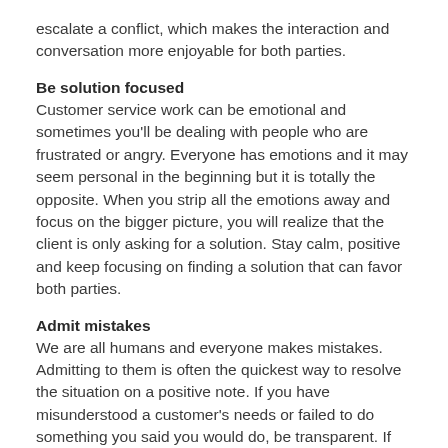escalate a conflict, which makes the interaction and conversation more enjoyable for both parties.
Be solution focused
Customer service work can be emotional and sometimes you'll be dealing with people who are frustrated or angry. Everyone has emotions and it may seem personal in the beginning but it is totally the opposite. When you strip all the emotions away and focus on the bigger picture, you will realize that the client is only asking for a solution. Stay calm, positive and keep focusing on finding a solution that can favor both parties.
Admit mistakes
We are all humans and everyone makes mistakes. Admitting to them is often the quickest way to resolve the situation on a positive note. If you have misunderstood a customer's needs or failed to do something you said you would do, be transparent. If the mistake is on the part of the business rather than something you have personally done, you can still apologize on behalf of your company and take the